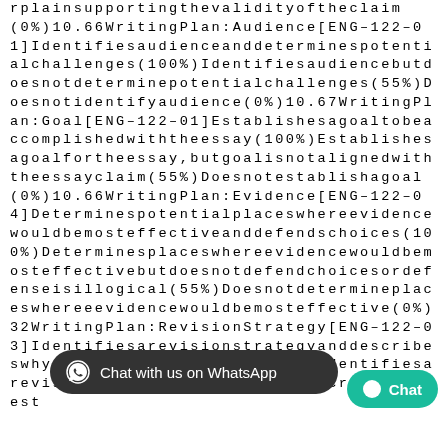rplainsupportingthevalidityoftheclaim(0%)10.66WritingPlan:Audience[ENG-122-01]Identifiesaudienceanddeterminespotentialchallenges(100%)Identifiesaudiencebutdoesnotdeterminepotentialchallenges(55%)Doesnotidentifyaudience(0%)10.67WritingPlan:Goal[ENG-122-01]Establishesagoaltobeaccomplishedwiththeessay(100%)Establishesagoalfortheessay,butgoalisnotalignedwiththeessayclaim(55%)Doesnotestablishagoal(0%)10.66WritingPlan:Evidence[ENG-122-04]Determinespotentialplaceswhereeevidencewouldbemosteffectiveanddefendschoices(100%)Determinesplaceswhereeevidencewouldbemosteffectivebutdoesnotdefendchoicesordefenseisillogical(55%)Doesnotdetermineplaceswhereevidencewoulddbemosteffective(0%)32WritingPlan:RevisionStrategy[ENG-122-03]Identifiesarevisionstrategywhyitwouldbeeeffective(100%)Identifiesasrevisionstrategy,butdoesnotdescribewhy